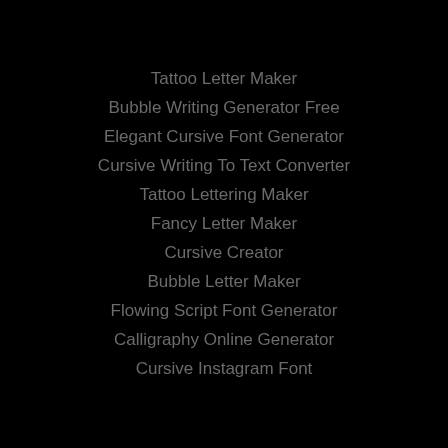Tattoo Letter Maker
Bubble Writing Generator Free
Elegant Cursive Font Generator
Cursive Writing To Text Converter
Tattoo Lettering Maker
Fancy Letter Maker
Cursive Creator
Bubble Letter Maker
Flowing Script Font Generator
Calligraphy Online Generator
Cursive Instagram Font